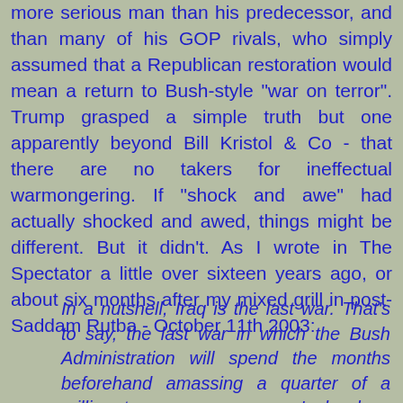more serious man than his predecessor, and than many of his GOP rivals, who simply assumed that a Republican restoration would mean a return to Bush-style "war on terror". Trump grasped a simple truth but one apparently beyond Bill Kristol & Co - that there are no takers for ineffectual warmongering. If "shock and awe" had actually shocked and awed, things might be different. But it didn't. As I wrote in The Spectator a little over sixteen years ago, or about six months after my mixed grill in post-Saddam Rutba - October 11th 2003:
In a nutshell, Iraq is the last war. That's to say, the last war in which the Bush Administration will spend the months beforehand amassing a quarter of a million troops on an enemy's borders. Doing it that way gives the enemy too long to enlist his own forces — the Western media, the